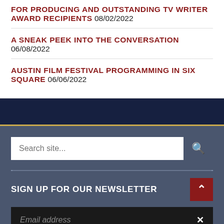FOR PRODUCING AND OUTSTANDING TV WRITER AWARD RECIPIENTS 08/02/2022
A SNEAK PEEK INTO THE CONVERSATION 06/08/2022
AUSTIN FILM FESTIVAL PROGRAMMING IN SIX SQUARE 06/06/2022
Search site...
SIGN UP FOR OUR NEWSLETTER
Email address